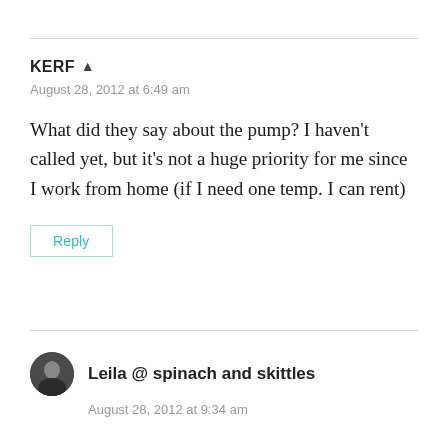KERF
August 28, 2012 at 6:49 am
What did they say about the pump? I haven't called yet, but it's not a huge priority for me since I work from home (if I need one temp. I can rent)
Reply
Leila @ spinach and skittles
August 28, 2012 at 9:34 am